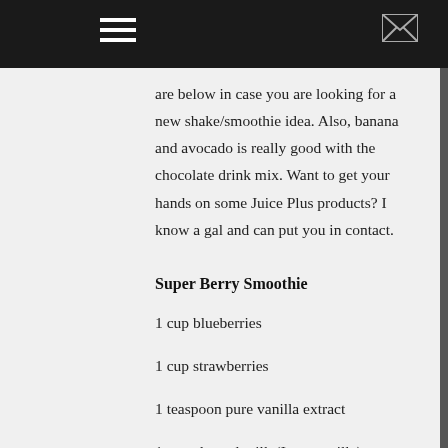are below in case you are looking for a new shake/smoothie idea. Also, banana and avocado is really good with the chocolate drink mix. Want to get your hands on some Juice Plus products? I know a gal and can put you in contact.
Super Berry Smoothie
1 cup blueberries
1 cup strawberries
1 teaspoon pure vanilla extract
1 cup almond milk (I use vanilla)